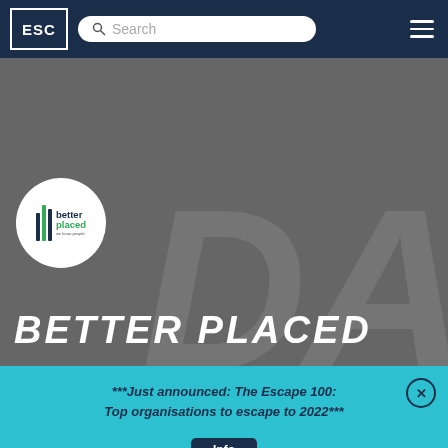[Figure (logo): ESC logo in navy navigation bar with search bar and hamburger menu]
[Figure (illustration): Better Placed company profile hero section with grey background, Better Placed circular logo, watermark letters, and large bold italic BETTER PLACED title text]
***Just announced: The Escape 100: Top organisations to escape to 2022***
[Figure (other): Info button partially visible at bottom of page]